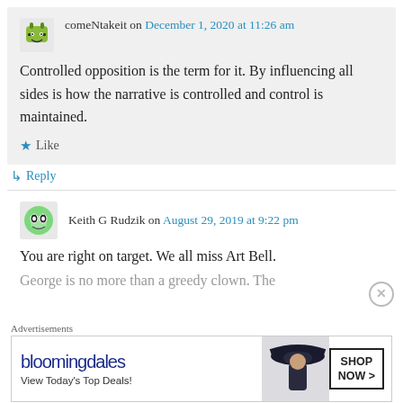comeNtakeit on December 1, 2020 at 11:26 am
Controlled opposition is the term for it. By influencing all sides is how the narrative is controlled and control is maintained.
Like
Reply
Keith G Rudzik on August 29, 2019 at 9:22 pm
You are right on target. We all miss Art Bell.
George is no more than a greedy clown. The
Advertisements
[Figure (screenshot): Bloomingdale's advertisement banner: 'View Today's Top Deals!' with woman in wide-brim hat. SHOP NOW > button.]